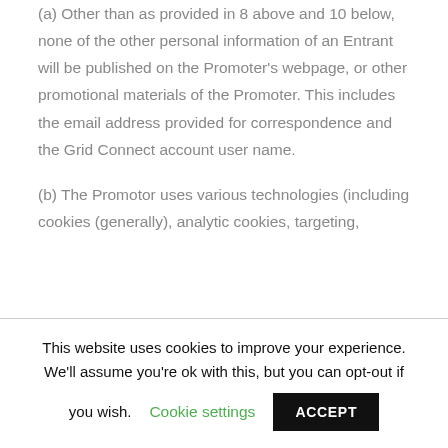(a) Other than as provided in 8 above and 10 below, none of the other personal information of an Entrant will be published on the Promoter's webpage, or other promotional materials of the Promoter. This includes the email address provided for correspondence and the Grid Connect account user name.
(b) The Promotor uses various technologies (including cookies (generally), analytic cookies, targeting,
This website uses cookies to improve your experience. We'll assume you're ok with this, but you can opt-out if you wish. Cookie settings ACCEPT